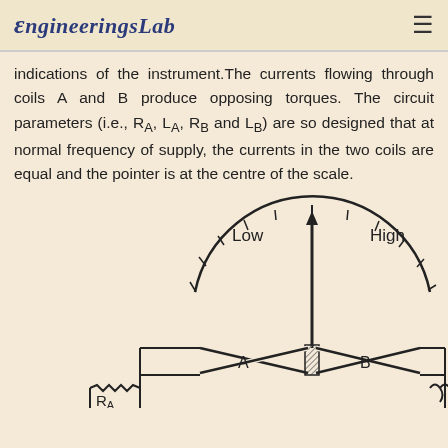EngineeringsLab
indications of the instrument.The currents flowing through coils A and B produce opposing torques. The circuit parameters (i.e., R_A, L_A, R_B and L_B) are so designed that at normal frequency of supply, the currents in the two coils are equal and the pointer is at the centre of the scale.
[Figure (engineering-diagram): Circuit diagram of a frequency meter with crossed coils A and B, a pointer indicating Low to High scale on a semi-circular meter face, and components R_A and an inductor visible at the bottom.]